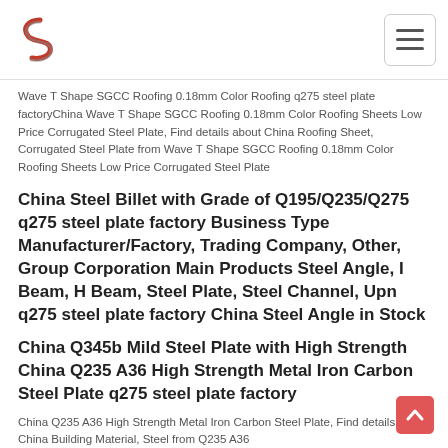[Figure (logo): Company logo: stylized S-curve red and grey icon]
[Figure (other): Hamburger menu icon button in rounded rectangle border]
Wave T Shape SGCC Roofing 0.18mm Color Roofing q275 steel plate factoryChina Wave T Shape SGCC Roofing 0.18mm Color Roofing Sheets Low Price Corrugated Steel Plate, Find details about China Roofing Sheet, Corrugated Steel Plate from Wave T Shape SGCC Roofing 0.18mm Color Roofing Sheets Low Price Corrugated Steel Plate
China Steel Billet with Grade of Q195/Q235/Q275 q275 steel plate factory Business Type Manufacturer/Factory, Trading Company, Other, Group Corporation Main Products Steel Angle, I Beam, H Beam, Steel Plate, Steel Channel, Upn q275 steel plate factory China Steel Angle in Stock
China Q345b Mild Steel Plate with High Strength China Q235 A36 High Strength Metal Iron Carbon Steel Plate q275 steel plate factory
China Q235 A36 High Strength Metal Iron Carbon Steel Plate, Find details about China Building Material, Steel from Q235 A36